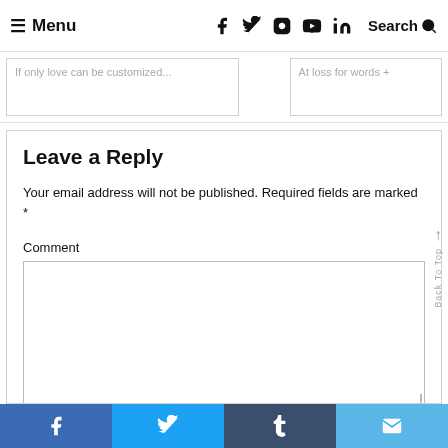≡ Menu  Search Q
If only love can be customized...
At loss for words +
Leave a Reply
Your email address will not be published. Required fields are marked *
Comment
f  t  envelope (social share bar)